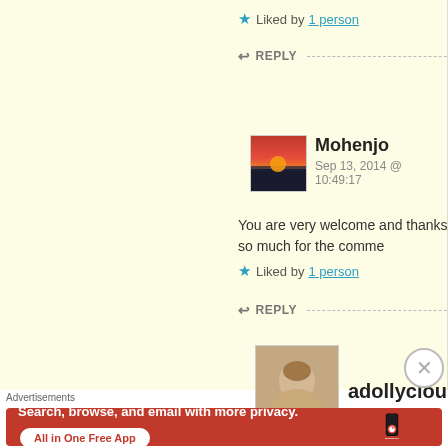★ Liked by 1 person
↩ REPLY
Mohenjo
Sep 13, 2014 @ 10:49:17
You are very welcome and thanks so much for the comme
★ Liked by 1 person
↩ REPLY
adollyciousirony
Sep 18, 2014 @ 09:46:32
Advertisements
[Figure (screenshot): DuckDuckGo advertisement banner showing 'Search, browse, and email with more privacy. All in One Free App' with phone graphic and DuckDuckGo logo]